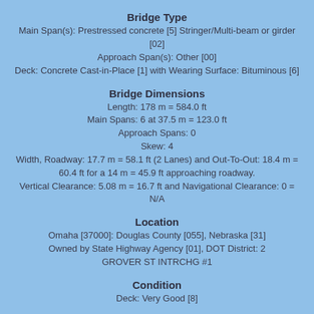Bridge Type
Main Span(s): Prestressed concrete [5] Stringer/Multi-beam or girder [02]
Approach Span(s): Other [00]
Deck: Concrete Cast-in-Place [1] with Wearing Surface: Bituminous [6]
Bridge Dimensions
Length: 178 m = 584.0 ft
Main Spans: 6 at 37.5 m = 123.0 ft
Approach Spans: 0
Skew: 4
Width, Roadway: 17.7 m = 58.1 ft (2 Lanes) and Out-To-Out: 18.4 m = 60.4 ft for a 14 m = 45.9 ft approaching roadway.
Vertical Clearance: 5.08 m = 16.7 ft and Navigational Clearance: 0 = N/A
Location
Omaha [37000]: Douglas County [055], Nebraska [31]
Owned by State Highway Agency [01], DOT District: 2
GROVER ST INTRCHG #1
Condition
Deck: Very Good [8]